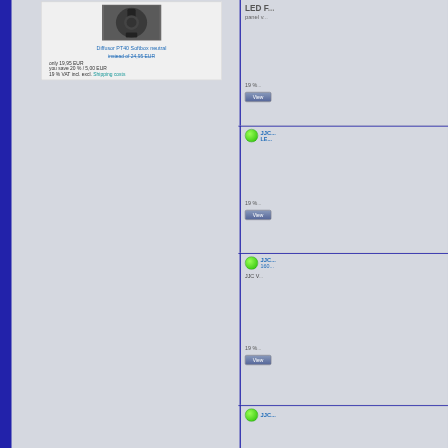[Figure (photo): Product photo of Diffusor PT40 Softbox neutral - dark/shadowed image]
Diffusor PT40 Softbox neutral
instead of 24,95 EUR
only 19,95 EUR
you save 20 % / 5,00 EUR
19 % VAT incl. excl. Shipping costs
LED F... panel v...
19 %...
View
JJC... LE...
19 %...
View
JJC... 160... JJC V...
19 %...
View
JJC...